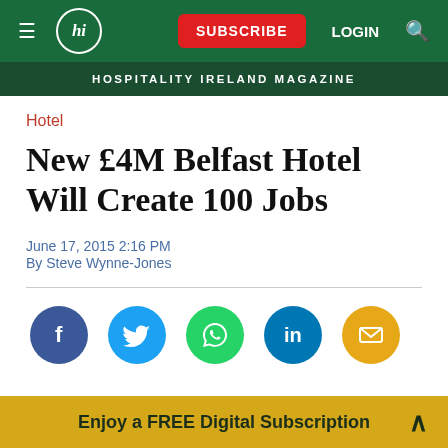Hospitality Ireland Magazine — nav: SUBSCRIBE LOGIN Search
Hotel
New £4M Belfast Hotel Will Create 100 Jobs
June 17, 2015 2:16 PM
By Steve Wynne-Jones
[Figure (infographic): Social sharing icons: Facebook, Twitter, WhatsApp, LinkedIn, Email]
Enjoy a FREE Digital Subscription